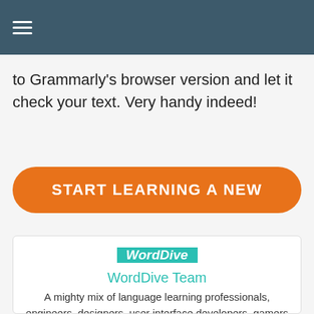≡
to Grammarly's browser version and let it check your text. Very handy indeed!
START LEARNING A NEW
[Figure (logo): WordDive teal square logo with white italic bold text 'WordDive']
WordDive Team
A mighty mix of language learning professionals, engineers, designers, user interface developers, gamers and